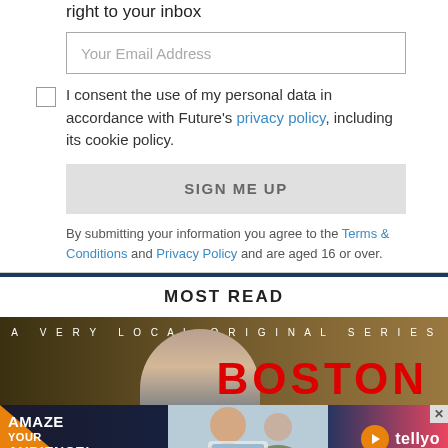right to your inbox
Your Email Address
I consent the use of my personal data in accordance with Future's privacy policy, including its cookie policy.
SIGN ME UP
By submitting your information you agree to the Terms & Conditions and Privacy Policy and are aged 16 or over.
MOST READ
[Figure (photo): A Very Local Original Series — Boston promotional image with a person in foreground and large red BOSTON text]
[Figure (infographic): Tellyo advertisement: 'Amaze Your Audience!' with orange triangle design, photo of elderly couple with laptop, and Tellyo logo with play button]